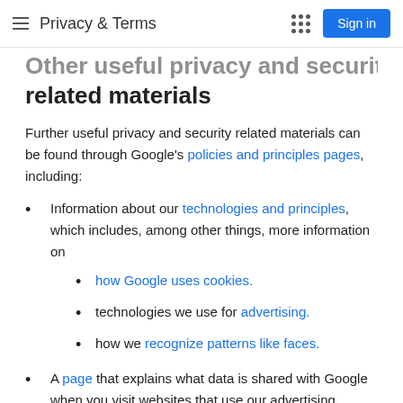Privacy & Terms
Other useful privacy and security related materials
Further useful privacy and security related materials can be found through Google's policies and principles pages, including:
Information about our technologies and principles, which includes, among other things, more information on
how Google uses cookies.
technologies we use for advertising.
how we recognize patterns like faces.
A page that explains what data is shared with Google when you visit websites that use our advertising, analytics and